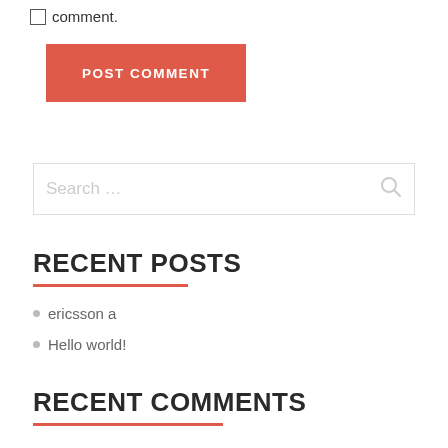comment.
POST COMMENT
Search …
RECENT POSTS
ericsson a
Hello world!
RECENT COMMENTS